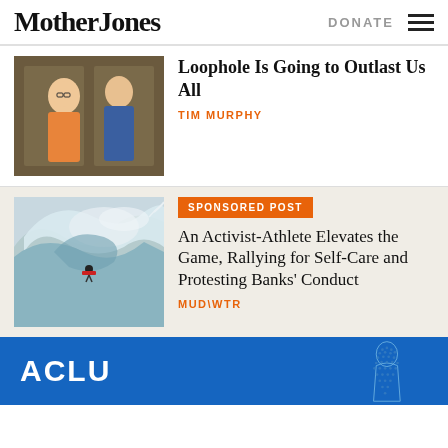Mother Jones | DONATE
Loophole Is Going to Outlast Us All
TIM MURPHY
SPONSORED POST
An Activist-Athlete Elevates the Game, Rallying for Self-Care and Protesting Banks' Conduct
MUD\WTR
[Figure (logo): ACLU banner advertisement with blue background and white ACLU text logo]
[Figure (photo): Two people standing, a woman in floral top and yellow skirt and a man in blue suit]
[Figure (photo): Surfer riding an enormous ocean wave]